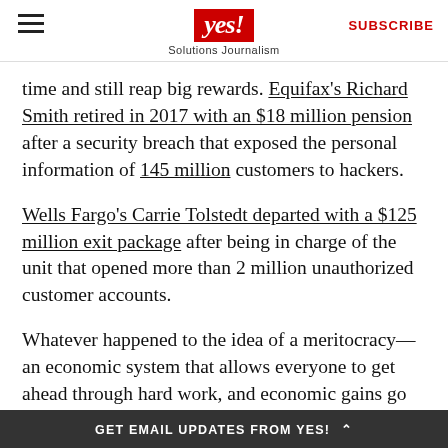yes! Solutions Journalism | SUBSCRIBE
time and still reap big rewards. Equifax's Richard Smith retired in 2017 with an $18 million pension after a security breach that exposed the personal information of 145 million customers to hackers.
Wells Fargo's Carrie Tolstedt departed with a $125 million exit package after being in charge of the unit that opened more than 2 million unauthorized customer accounts.
Whatever happened to the idea of a meritocracy—an economic system that allows everyone to get ahead through hard work, and economic gains go only to those who deserve them?
GET EMAIL UPDATES FROM YES! ^